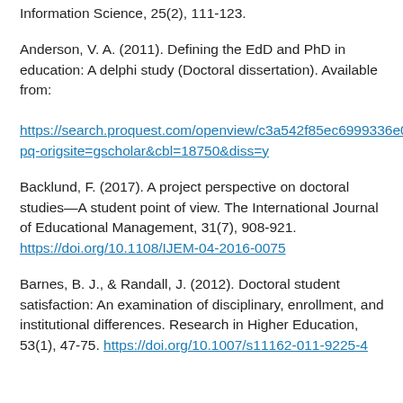Information Science, 25(2), 111-123.
Anderson, V. A. (2011). Defining the EdD and PhD in education: A delphi study (Doctoral dissertation). Available from: https://search.proquest.com/openview/c3a542f85ec6999336e02/pq-origsite=gscholar&cbl=18750&diss=y
Backlund, F. (2017). A project perspective on doctoral studies—A student point of view. The International Journal of Educational Management, 31(7), 908-921. https://doi.org/10.1108/IJEM-04-2016-0075
Barnes, B. J., & Randall, J. (2012). Doctoral student satisfaction: An examination of disciplinary, enrollment, and institutional differences. Research in Higher Education, 53(1), 47-75. https://doi.org/10.1007/s11162-011-9225-4